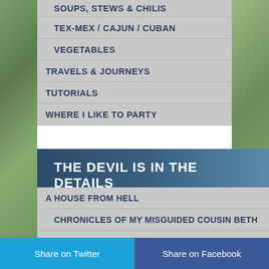SOUPS, STEWS & CHILIS
TEX-MEX / CAJUN / CUBAN
VEGETABLES
TRAVELS & JOURNEYS
TUTORIALS
WHERE I LIKE TO PARTY
THE DEVIL IS IN THE DETAILS
A HOUSE FROM HELL
CHRONICLES OF MY MISGUIDED COUSIN BETH
LIFE IN REMODEL
REHABBING GRAMPS & GRAMPS HOUSE
Share on Twitter   Share on Facebook